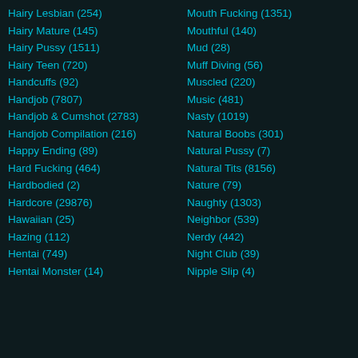Hairy Lesbian (254)
Hairy Mature (145)
Hairy Pussy (1511)
Hairy Teen (720)
Handcuffs (92)
Handjob (7807)
Handjob & Cumshot (2783)
Handjob Compilation (216)
Happy Ending (89)
Hard Fucking (464)
Hardbodied (2)
Hardcore (29876)
Hawaiian (25)
Hazing (112)
Hentai (749)
Hentai Monster (14)
Mouth Fucking (1351)
Mouthful (140)
Mud (28)
Muff Diving (56)
Muscled (220)
Music (481)
Nasty (1019)
Natural Boobs (301)
Natural Pussy (7)
Natural Tits (8156)
Nature (79)
Naughty (1303)
Neighbor (539)
Nerdy (442)
Night Club (39)
Nipple Slip (4)